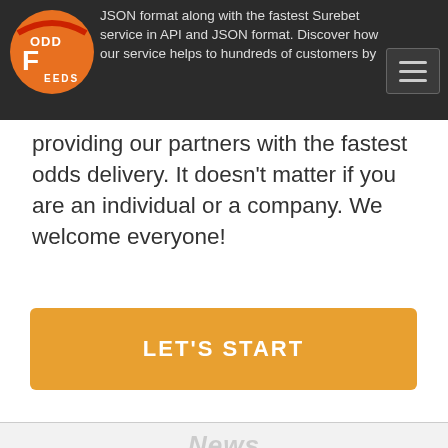JSON format along with the fastest Surebet service in API and JSON format. Discover how our service helps to hundreds of customers by
providing our partners with the fastest odds delivery. It doesn't matter if you are an individual or a company. We welcome everyone!
[Figure (other): Orange 'LET'S START' call-to-action button]
News
[Figure (logo): Arbitrage Guides logo on dark gray background with AG initials and arrow]